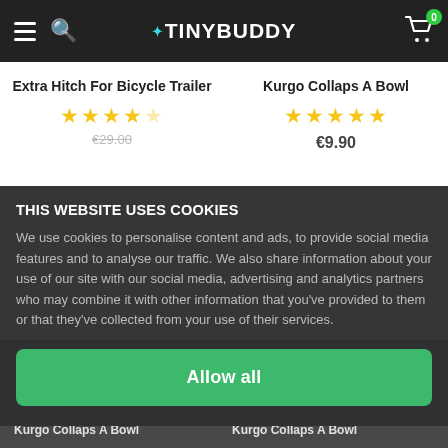TINYBUDDY — navigation bar with hamburger menu, search icon, logo, and cart (0 items)
Extra Hitch For Bicycle Trailer
★★★★★
Kurgo Collaps A Bowl
★★★★★
€9.90
THIS WEBSITE USES COOKIES
We use cookies to personalise content and ads, to provide social media features and to analyse our traffic. We also share information about your use of our site with our social media, advertising and analytics partners who may combine it with other information that you've provided to them or that they've collected from your use of their services.
Allow all
Kurgo Collaps A Bowl
Kurgo Collaps A Bowl